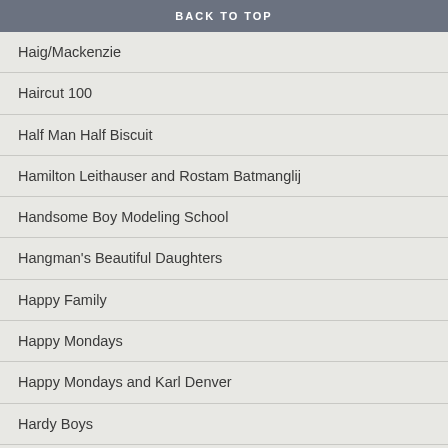BACK TO TOP
Haig/Mackenzie
Haircut 100
Half Man Half Biscuit
Hamilton Leithauser and Rostam Batmanglij
Handsome Boy Modeling School
Hangman's Beautiful Daughters
Happy Family
Happy Mondays
Happy Mondays and Karl Denver
Hardy Boys
Harry Papadopoulos
Haysi Fantayzee
Hazey Janes